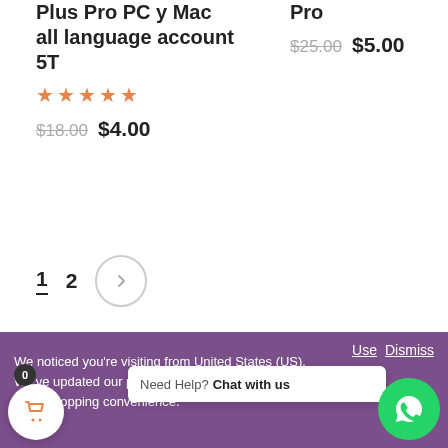Plus Pro PC y Mac all language account 5T
★★★★★
$18.00  $4.00
Pro
$25.00  $5.00
1  2  >
Your Recently Viewed Products
Recently Viewed Products is a function which helps
We noticed you're visiting from United States (US). We've updated our prices to Euro. United States (US) dollar for your shopping convenience.
Use  Dismiss
Need Help? Chat with us